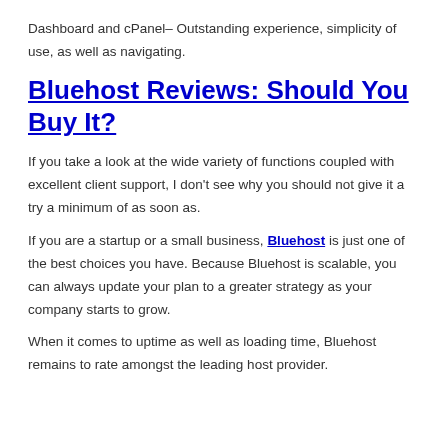Dashboard and cPanel– Outstanding experience, simplicity of use, as well as navigating.
Bluehost Reviews: Should You Buy It?
If you take a look at the wide variety of functions coupled with excellent client support, I don't see why you should not give it a try a minimum of as soon as.
If you are a startup or a small business, Bluehost is just one of the best choices you have. Because Bluehost is scalable, you can always update your plan to a greater strategy as your company starts to grow.
When it comes to uptime as well as loading time, Bluehost remains to rate amongst the leading host provider.